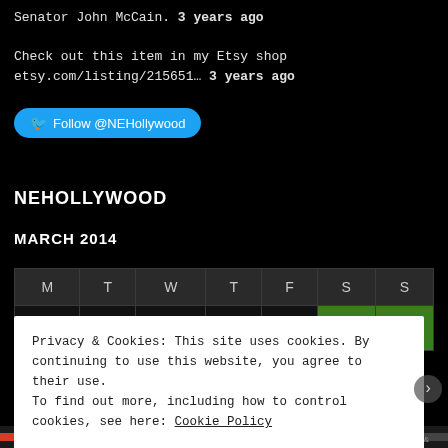Senator John McCain. 3 years ago
Check out this item in my Etsy shop etsy.com/listing/215651… 3 years ago
[Figure (other): Twitter Follow button for @NEHollywood]
NEHOLLYWOOD
MARCH 2014
| M | T | W | T | F | S | S |
| --- | --- | --- | --- | --- | --- | --- |
|  |  |  |  |  | 1 | 2 |
Privacy & Cookies: This site uses cookies. By continuing to use this website, you agree to their use. To find out more, including how to control cookies, see here: Cookie Policy
Close and accept